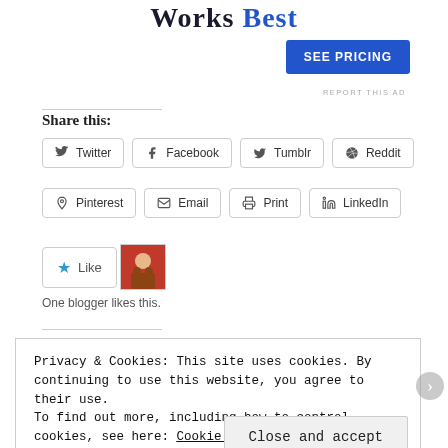Works Best
SEE PRICING
REPORT THIS AD
Share this:
Twitter
Facebook
Tumblr
Reddit
Pinterest
Email
Print
LinkedIn
One blogger likes this.
Privacy & Cookies: This site uses cookies. By continuing to use this website, you agree to their use.
To find out more, including how to control cookies, see here: Cookie Policy
Close and accept